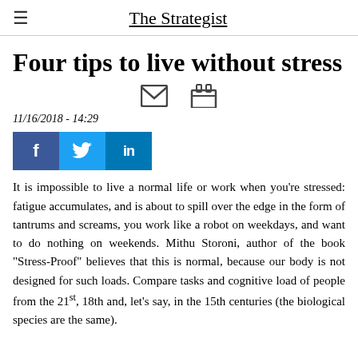The Strategist
Four tips to live without stress
11/16/2018 - 14:29
It is impossible to live a normal life or work when you're stressed: fatigue accumulates, and is about to spill over the edge in the form of tantrums and screams, you work like a robot on weekdays, and want to do nothing on weekends. Mithu Storoni, author of the book "Stress-Proof" believes that this is normal, because our body is not designed for such loads. Compare tasks and cognitive load of people from the 21st, 18th and, let's say, in the 15th centuries (the biological species are the same).